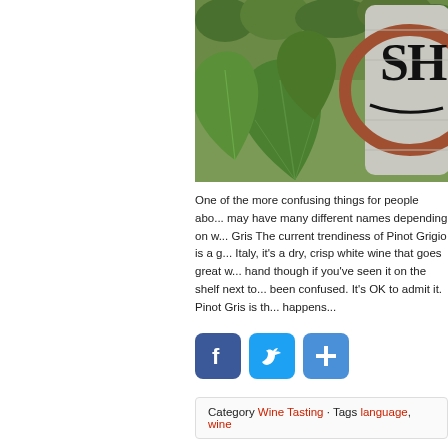[Figure (photo): Photo of vineyard with grapevine leaves in foreground and a wine barrel with partial text 'SH' visible, with a reddish-brown rim]
One of the more confusing things for people abo... may have many different names depending on w... Gris The current trendiness of Pinot Grigio is a g... Italy, it's a dry, crisp white wine that goes great w... hand though if you've seen it on the shelf next to... been confused. It's OK to admit it. Pinot Gris is th... happens...
[Figure (infographic): Social sharing icons: Facebook (blue f), Twitter (blue bird), and a blue plus/add button]
Category Wine Tasting · Tags language, wine